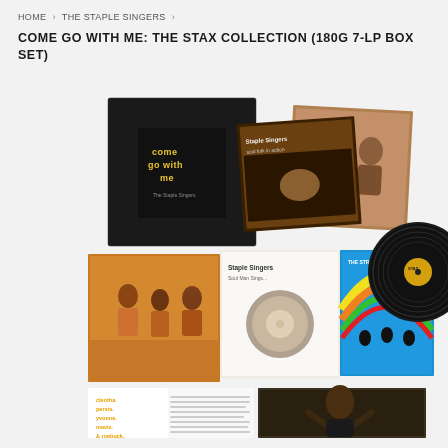HOME › THE STAPLE SINGERS ›
COME GO WITH ME: THE STAX COLLECTION (180G 7-LP BOX SET)
[Figure (photo): Product photo of the Come Go With Me: The Stax Collection 180g 7-LP box set by The Staple Singers, showing a black box set with yellow/white text, surrounded by multiple LP record sleeves with album artwork, and a visible vinyl record, plus two open gatefold sleeves at the bottom displaying inner liner notes and a portrait photo.]